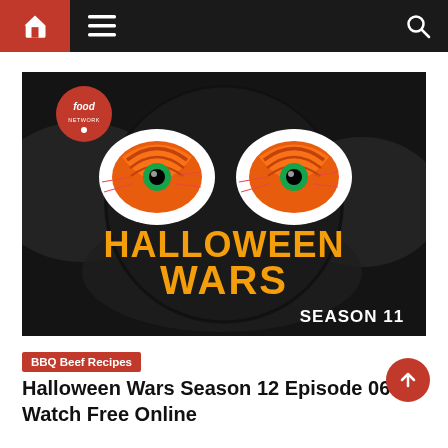Navigation bar with home icon, menu icon, and search icon
[Figure (photo): Halloween Wars Season 11 promotional image on Food Network. Two glowing Halloween-style eyeballs on a dark plate, with orange and red swirling patterns, green irises. Bold orange text reads 'HALLOWEEN WARS' and white text reads 'SEASON 11'. Food Network logo in upper left corner.]
BBQ Beef Recipes
Halloween Wars Season 12 Episode 06 Watch Free Online